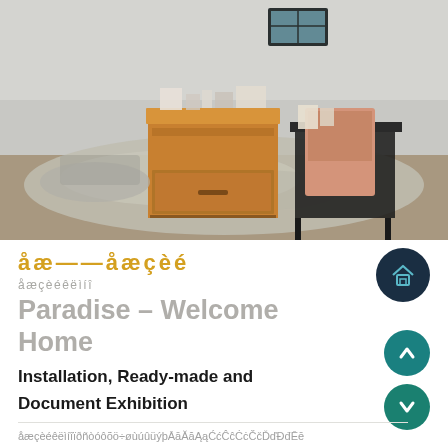[Figure (photo): Interior gallery/installation view showing a wooden dresser chest placed on a sandy/gravelly floor area surrounded by white pebbles, with a floral-upholstered chair, white walls, and a small window near the ceiling.]
樂園——回家了
幸福的家庭都是一樣的
Paradise - Welcome Home
Installation, Ready-made and Document Exhibition
（中文內文說明文字段落，描述展覽詳情及相關資訊）